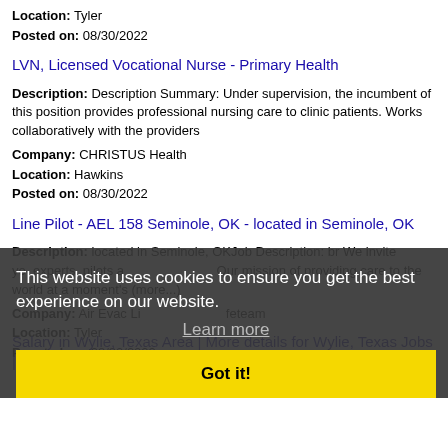Location: Tyler
Posted on: 08/30/2022
LVN, Licensed Vocational Nurse - Primary Health
Description: Description Summary: Under supervision, the incumbent of this position provides professional nursing care to clinic patients. Works collaboratively with the providers
Company: CHRISTUS Health
Location: Hawkins
Posted on: 08/30/2022
Line Pilot - AEL 158 Seminole, OK - located in Seminole, OK
Description: located in Seminole, OKJob Description: br We invite you experts, pilots and more since Our mission of providing care to the world at a moment's (more...)
Company: Air Evac Lifeteam
Location: Tyler
Posted on: 08/30/2022
This website uses cookies to ensure you get the best experience on our website.
Learn more
Got it!
Salary in Wylie, Texas Area | More details for Wylie, Texas Jobs |Salary